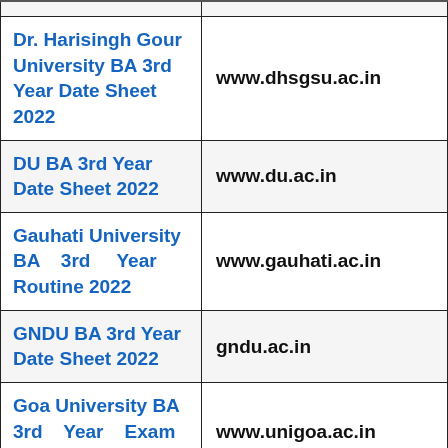| University / Date Sheet Name | Website |
| --- | --- |
| Dr. Harisingh Gour University BA 3rd Year Date Sheet 2022 | www.dhsgsu.ac.in |
| DU BA 3rd Year Date Sheet 2022 | www.du.ac.in |
| Gauhati University BA 3rd Year Routine 2022 | www.gauhati.ac.in |
| GNDU BA 3rd Year Date Sheet 2022 | gndu.ac.in |
| Goa University BA 3rd Year Exam Date Sheet 2022 | www.unigoa.ac.in |
| Gorakhpur University BA 3rd ... |  |